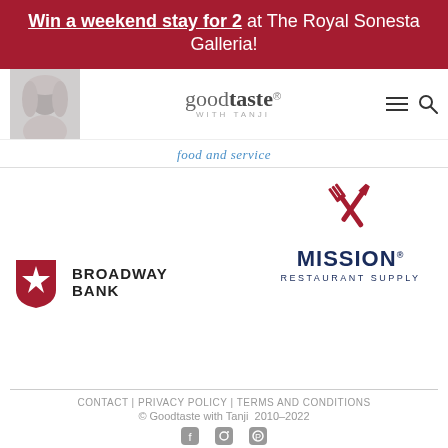Win a weekend stay for 2 at The Royal Sonesta Galleria!
[Figure (logo): Good Taste with Tanji website header with portrait photo, logo, hamburger menu and search icon]
food and service
[Figure (logo): Mission Restaurant Supply logo with crossed fork and knife icon]
[Figure (logo): Broadway Bank logo with star icon]
CONTACT | PRIVACY POLICY | TERMS AND CONDITIONS
© Goodtaste with Tanji  2010–2022